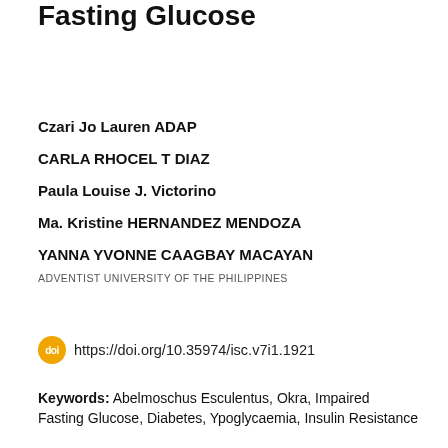Fasting Glucose
Czari Jo Lauren ADAP
CARLA RHOCEL T DIAZ
Paula Louise J. Victorino
Ma. Kristine HERNANDEZ MENDOZA
YANNA YVONNE CAAGBAY MACAYAN
ADVENTIST UNIVERSITY OF THE PHILIPPINES
https://doi.org/10.35974/isc.v7i1.1921
Keywords: Abelmoschus Esculentus, Okra, Impaired Fasting Glucose, Diabetes, Ypoglycaemia, Insulin Resistance